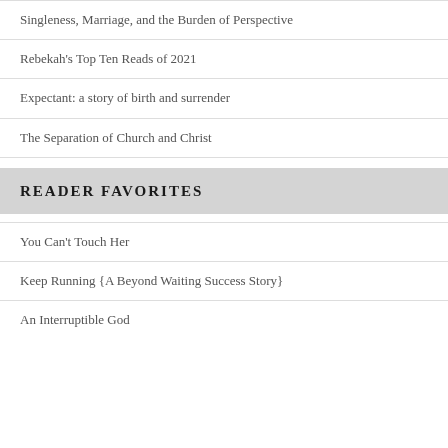Singleness, Marriage, and the Burden of Perspective
Rebekah's Top Ten Reads of 2021
Expectant: a story of birth and surrender
The Separation of Church and Christ
READER FAVORITES
You Can't Touch Her
Keep Running {A Beyond Waiting Success Story}
An Interruptible God